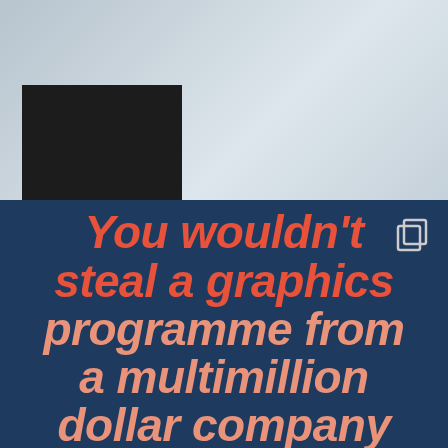[Figure (photo): Top portion showing a person wearing a light blue/white t-shirt with a dark monitor/screen visible on the left side, cropped to show torso only]
[Figure (infographic): Dark navy blue background with bold italic text reading 'You wouldn't steal a graphics programme from a multimillion dollar company' in orange/salmon colors, with a copy/duplicate icon in the top right corner]